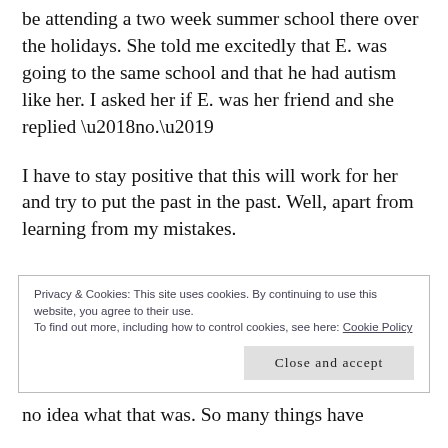be attending a two week summer school there over the holidays. She told me excitedly that E. was going to the same school and that he had autism like her. I asked her if E. was her friend and she replied ‘no.’
I have to stay positive that this will work for her and try to put the past in the past. Well, apart from learning from my mistakes.
Privacy & Cookies: This site uses cookies. By continuing to use this website, you agree to their use. To find out more, including how to control cookies, see here: Cookie Policy
Close and accept
no idea what that was. So many things have